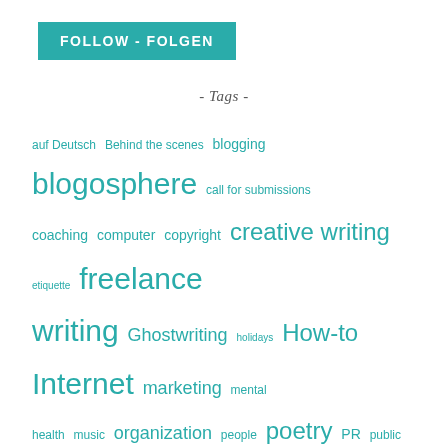FOLLOW - FOLGEN
- Tags -
auf Deutsch Behind the scenes blogging blogosphere call for submissions coaching computer copyright creative writing etiquette freelance writing Ghostwriting holidays How-to Internet marketing mental health music organization people poetry PR public relations publishing research Schreiben SEO Sherlock Holmes Shopping Shop Talk short fiction social media spelling/grammar/punctuation TED USA life vid Writer's Block writing writing inspiration writing jobs